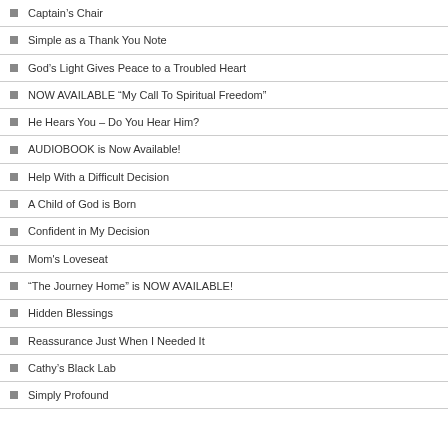Captain’s Chair
Simple as a Thank You Note
God’s Light Gives Peace to a Troubled Heart
NOW AVAILABLE “My Call To Spiritual Freedom”
He Hears You – Do You Hear Him?
AUDIOBOOK is Now Available!
Help With a Difficult Decision
A Child of God is Born
Confident in My Decision
Mom's Loveseat
“The Journey Home” is NOW AVAILABLE!
Hidden Blessings
Reassurance Just When I Needed It
Cathy’s Black Lab
Simply Profound